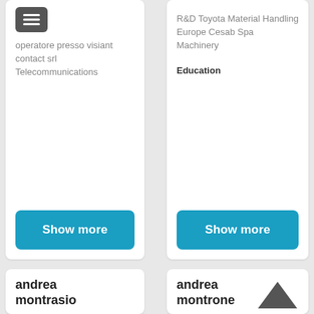[Figure (screenshot): Menu icon (hamburger) button in dark gray]
operatore presso visiant contact srl
Telecommunications
R&D Toyota Material Handling Europe Cesab Spa
Machinery
Education
Show more
Show more
andrea montrasio
Bologna Area, Italy
andrea montrone
Grosseto Area, Italy